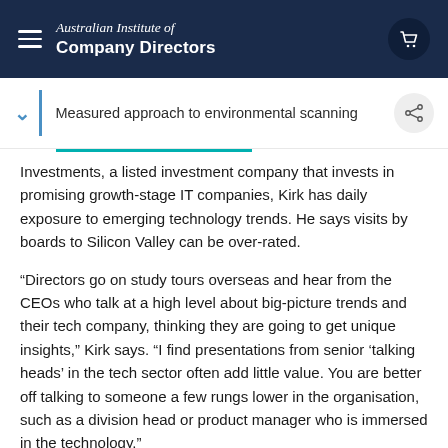Australian Institute of Company Directors
Measured approach to environmental scanning
Investments, a listed investment company that invests in promising growth-stage IT companies, Kirk has daily exposure to emerging technology trends. He says visits by boards to Silicon Valley can be over-rated.
“Directors go on study tours overseas and hear from the CEOs who talk at a high level about big-picture trends and their tech company, thinking they are going to get unique insights,” Kirk says. “I find presentations from senior ‘talking heads’ in the tech sector often add little value. You are better off talking to someone a few rungs lower in the organisation, such as a division head or product manager who is immersed in the technology.”